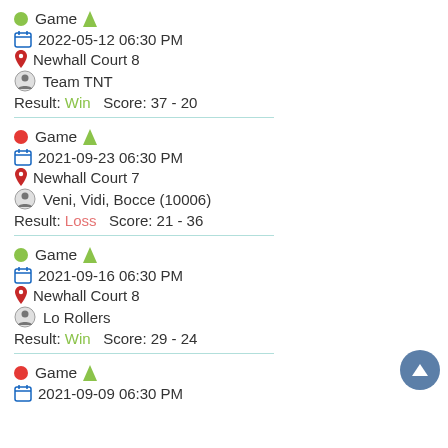Game (green dot, arrow) | 2022-05-12 06:30 PM | Newhall Court 8 | Team TNT | Result: Win  Score: 37 - 20
Game (red dot, arrow) | 2021-09-23 06:30 PM | Newhall Court 7 | Veni, Vidi, Bocce (10006) | Result: Loss  Score: 21 - 36
Game (green dot, arrow) | 2021-09-16 06:30 PM | Newhall Court 8 | Lo Rollers | Result: Win  Score: 29 - 24
Game (red dot, arrow) | 2021-09-09 06:30 PM